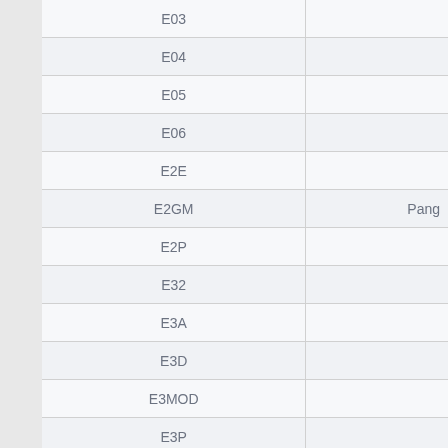|  |  |
| --- | --- |
| E03 |  |
| E04 |  |
| E05 |  |
| E06 |  |
| E2E |  |
| E2GM | Pang |
| E2P |  |
| E32 |  |
| E3A |  |
| E3D |  |
| E3MOD |  |
| E3P |  |
| E3S |  |